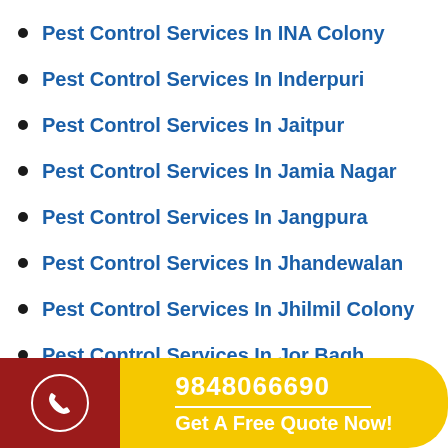Pest Control Services In INA Colony
Pest Control Services In Inderpuri
Pest Control Services In Jaitpur
Pest Control Services In Jamia Nagar
Pest Control Services In Jangpura
Pest Control Services In Jhandewalan
Pest Control Services In Jhilmil Colony
Pest Control Services In Jor Bagh
Pest Control Services In Kalkaji
9848066690 | Get A Free Quote Now!